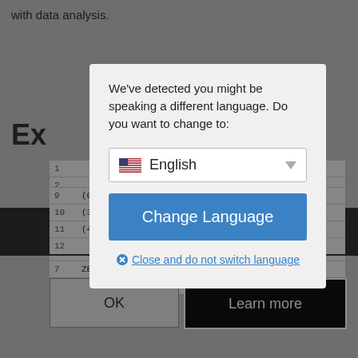with data analysis.
Ex
| # | value |
| --- | --- |
| 1 |  |
| 2 |  |
| 3 |  |
| 4 |  |
| 5 |  |
| 6 |  |
| 7 | ZERO ... |
| 8 |  |
| 9 | (0, 554000062) |
| 10 | (3, 'India', 'Amritsar', None), |
| 11 | (4, 'Turkey', 'Ankara', 550000), |
| 12 |  |
[Figure (screenshot): Language change modal dialog with English selected, Change Language button, and Close and do not switch language link. Background shows a code/data page with OK and Learn more buttons.]